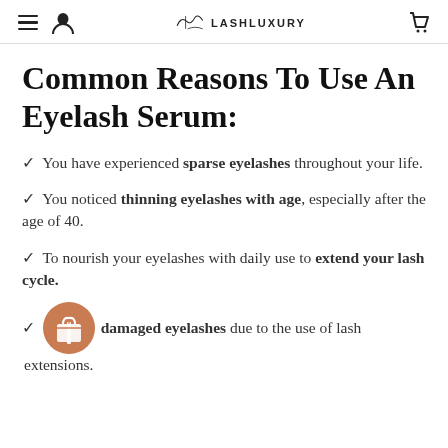LASHLUXURY
Common Reasons To Use An Eyelash Serum:
You have experienced sparse eyelashes throughout your life.
You noticed thinning eyelashes with age, especially after the age of 40.
To nourish your eyelashes with daily use to extend your lash cycle.
Repair damaged eyelashes due to the use of lash extensions.